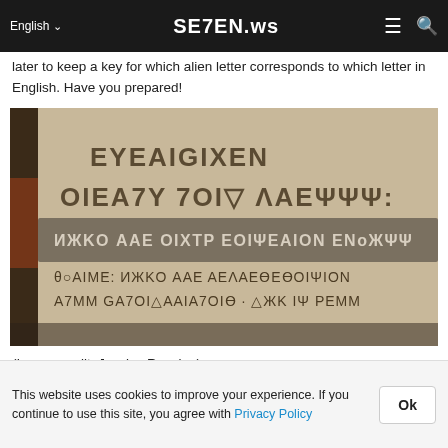SE7EN.ws — English navigation bar with language selector, hamburger menu, and search icon
later to keep a key for which alien letter corresponds to which letter in English. Have you prepared!
[Figure (photo): A photograph of a sign or poster written in an alien/fictional script resembling geometric letters, with multiple lines of text on a beige/tan background and one highlighted bar with lighter text on a darker background.]
(Image credit: Jessica Rawden)
This website uses cookies to improve your experience. If you continue to use this site, you agree with Privacy Policy